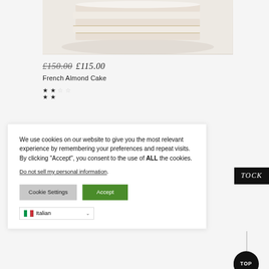[Figure (photo): Photo of a layered cake (French Almond Cake) with white frosting/glaze, stacked layers visible, on a light background]
£150.00 £115.00
French Almond Cake
[Figure (other): Star rating: 4 out of 5 stars (arranged in 2x2 grid of filled stars plus one partial/empty star)]
[Figure (other): OUT OF STOCK badge in black background with italic white text]
We use cookies on our website to give you the most relevant experience by remembering your preferences and repeat visits. By clicking “Accept”, you consent to the use of ALL the cookies.
Do not sell my personal information.
Cookie Settings
Accept
Italian
TOP